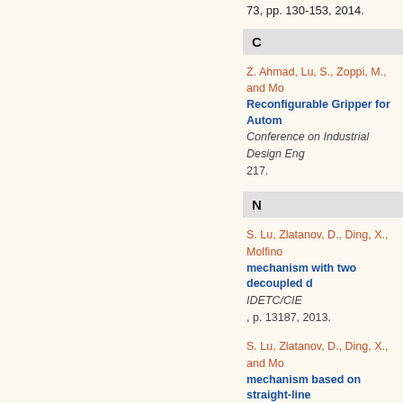73, pp. 130-153, 2014.
C
Z. Ahmad, Lu, S., Zoppi, M., and Mo... Reconfigurable Gripper for Autom... Conference on Industrial Design Eng... 217.
N
S. Lu, Zlatanov, D., Ding, X., Molfino... mechanism with two decoupled d... IDETC/CIE, p. 13187, 2013.
S. Lu, Zlatanov, D., Ding, X., and Mo... mechanism based on straight-line... Mechanisms and Robotic Systems,